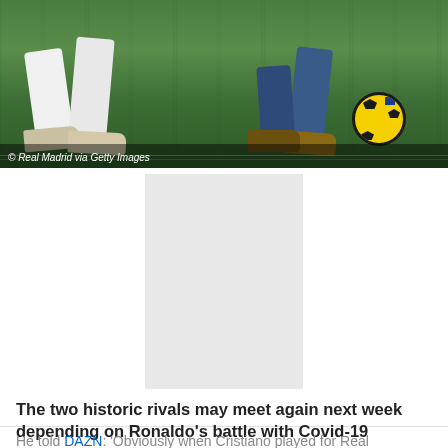[Figure (photo): Two soccer players' legs on a grass field with a soccer ball. One player wears white kit, the other wears dark blue. A yellow and dark soccer ball is visible on the right.]
© Real Madrid via Getty Images
[Figure (other): Advertisement placeholder - gray rectangle]
The two historic rivals may meet again next week depending on Ronaldo's battle with Covid-19
He told DAZN: 'Obviously when Cristiano played for Real